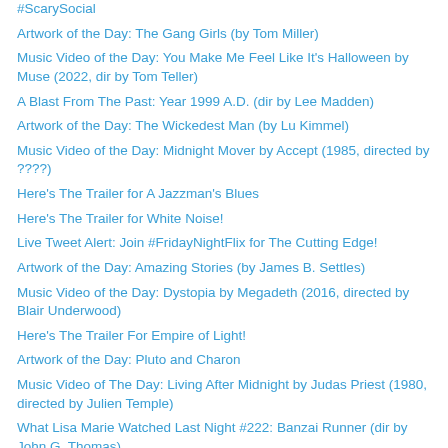#ScarySocial
Artwork of the Day: The Gang Girls (by Tom Miller)
Music Video of the Day: You Make Me Feel Like It's Halloween by Muse (2022, dir by Tom Teller)
A Blast From The Past: Year 1999 A.D. (dir by Lee Madden)
Artwork of the Day: The Wickedest Man (by Lu Kimmel)
Music Video of the Day: Midnight Mover by Accept (1985, directed by ????)
Here's The Trailer for A Jazzman's Blues
Here's The Trailer for White Noise!
Live Tweet Alert: Join #FridayNightFlix for The Cutting Edge!
Artwork of the Day: Amazing Stories (by James B. Settles)
Music Video of the Day: Dystopia by Megadeth (2016, directed by Blair Underwood)
Here's The Trailer For Empire of Light!
Artwork of the Day: Pluto and Charon
Music Video of The Day: Living After Midnight by Judas Priest (1980, directed by Julien Temple)
What Lisa Marie Watched Last Night #222: Banzai Runner (dir by John G. Thomas)